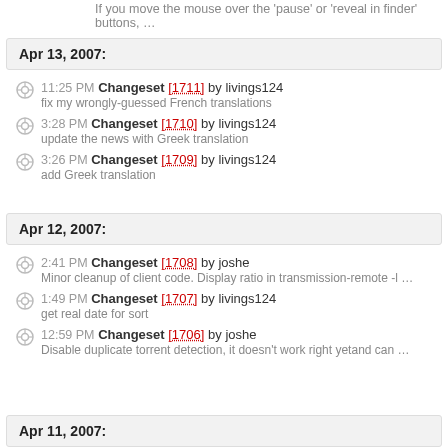If you move the mouse over the 'pause' or 'reveal in finder' buttons, …
Apr 13, 2007:
11:25 PM Changeset [1711] by livings124
fix my wrongly-guessed French translations
3:28 PM Changeset [1710] by livings124
update the news with Greek translation
3:26 PM Changeset [1709] by livings124
add Greek translation
Apr 12, 2007:
2:41 PM Changeset [1708] by joshe
Minor cleanup of client code. Display ratio in transmission-remote -l …
1:49 PM Changeset [1707] by livings124
get real date for sort
12:59 PM Changeset [1706] by joshe
Disable duplicate torrent detection, it doesn't work right yetand can …
Apr 11, 2007: